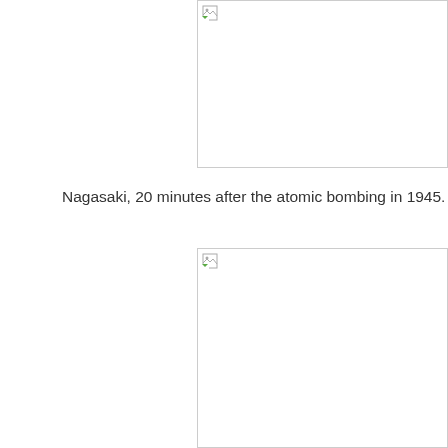[Figure (photo): Broken image placeholder for a photo of Nagasaki, positioned in the upper right area of the page]
Nagasaki, 20 minutes after the atomic bombing in 1945.
[Figure (photo): Broken image placeholder for a second photo, positioned in the lower right area of the page]